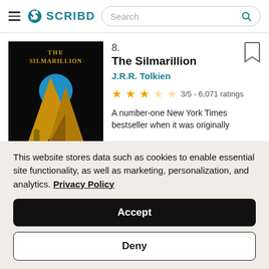SCRIBD — Search bar
8.
The Silmarillion
J.R.R. Tolkien
3/5 - 6,071 ratings
A number-one New York Times bestseller when it was originally
[Figure (illustration): Book cover of The Silmarillion by J.R.R. Tolkien — black background with golden mountain peaks and a blue circle, title text in gold at top, author name at bottom]
This website stores data such as cookies to enable essential site functionality, as well as marketing, personalization, and analytics. Privacy Policy
Accept
Deny